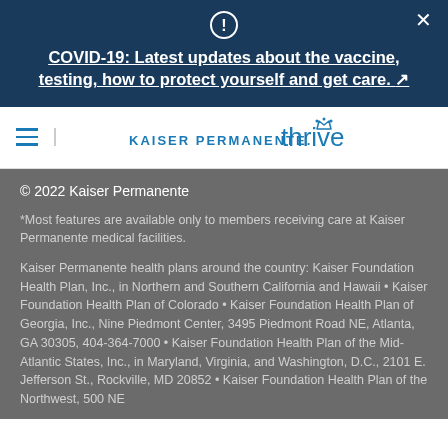COVID-19: Latest updates about the vaccine, testing, how to protect yourself and get care. ↗
[Figure (logo): Kaiser Permanente Thrive logo in blue]
© 2022 Kaiser Permanente
*Most features are available only to members receiving care at Kaiser Permanente medical facilities.
Kaiser Permanente health plans around the country: Kaiser Foundation Health Plan, Inc., in Northern and Southern California and Hawaii • Kaiser Foundation Health Plan of Colorado • Kaiser Foundation Health Plan of Georgia, Inc., Nine Piedmont Center, 3495 Piedmont Road NE, Atlanta, GA 30305, 404-364-7000 • Kaiser Foundation Health Plan of the Mid-Atlantic States, Inc., in Maryland, Virginia, and Washington, D.C., 2101 E. Jefferson St., Rockville, MD 20852 • Kaiser Foundation Health Plan of the Northwest, 500 NE